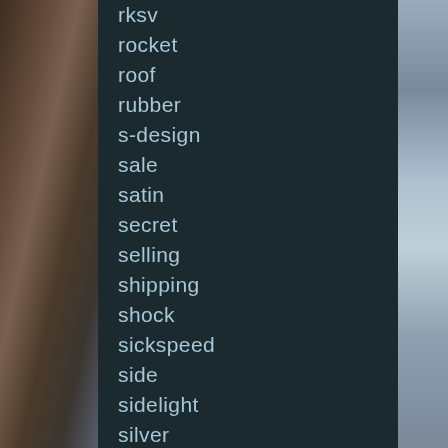[Figure (photo): Rocky coastal cliff scene on the left side]
[Figure (photo): Ocean waves crashing on the right side]
rksv
rocket
roof
rubber
s-design
sale
satin
secret
selling
shipping
shock
sickspeed
side
sidelight
silver
small
sound
sp-r